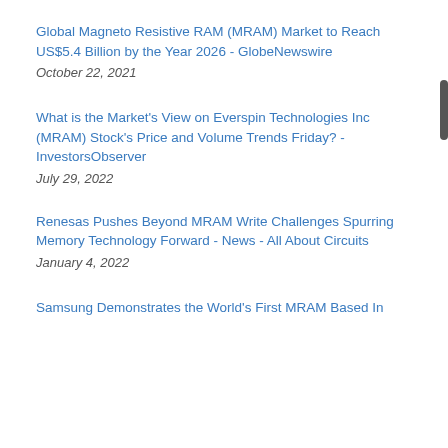Global Magneto Resistive RAM (MRAM) Market to Reach US$5.4 Billion by the Year 2026 - GlobeNewswire
October 22, 2021
What is the Market's View on Everspin Technologies Inc (MRAM) Stock's Price and Volume Trends Friday? - InvestorsObserver
July 29, 2022
Renesas Pushes Beyond MRAM Write Challenges Spurring Memory Technology Forward - News - All About Circuits
January 4, 2022
Samsung Demonstrates the World's First MRAM Based In